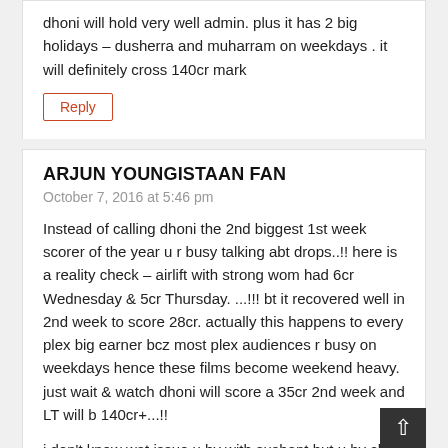dhoni will hold very well admin. plus it has 2 big holidays – dusherra and muharram on weekdays . it will definitely cross 140cr mark
Reply
ARJUN YOUNGISTAAN FAN
October 7, 2016 at 5:46 pm
Instead of calling dhoni the 2nd biggest 1st week scorer of the year u r busy talking abt drops..!! here is a reality check – airlift with strong wom had 6cr Wednesday & 5cr Thursday. ...!!! bt it recovered well in 2nd week to score 28cr. actually this happens to every plex big earner bcz most plex audiences r busy on weekdays hence these films become weekend heavy. just wait & watch dhoni will score a 35cr 2nd week and LT will b 140cr+...!!
i don't know wat issue u hv with sushant but u hv clea